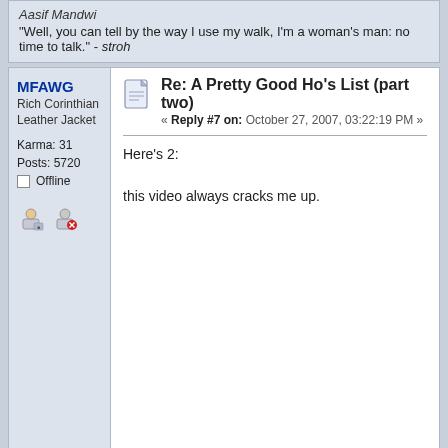Aasif Mandwi
"Well, you can tell by the way I use my walk, I'm a woman's man: no time to talk." - stroh
Re: A Pretty Good Ho's List (part two)
« Reply #7 on: October 27, 2007, 03:22:19 PM »
MFAWG
Rich Corinthian Leather Jacket
Karma: 31
Posts: 5720
Offline
Here's 2:
this video always cracks me up.
Couldn't load plugin.